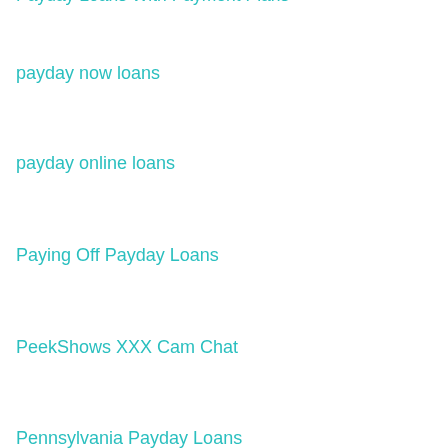Payday Loans With Payment Plans
payday now loans
payday online loans
Paying Off Payday Loans
PeekShows XXX Cam Chat
Pennsylvania Payday Loans
Planetromeo mobile
plenty of fish mobile site
Plenty Of Fish reddit
poker games online
poker sites by sountries
polish brides